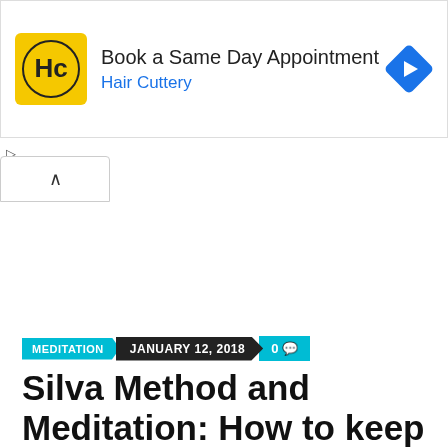[Figure (screenshot): Hair Cuttery advertisement banner with logo, 'Book a Same Day Appointment' heading, 'Hair Cuttery' subheading, and a blue navigation arrow icon on the right]
▷
×
∧
MEDITATION   JANUARY 12, 2018   0
Silva Method and Meditation: How to keep anxiety away from...